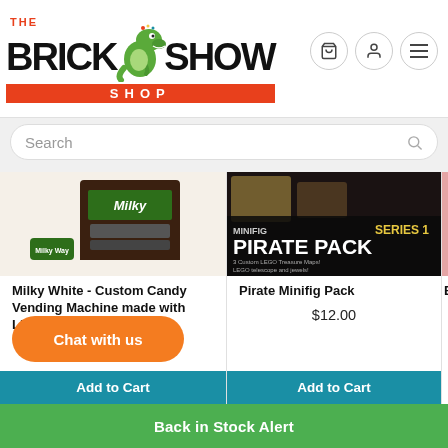[Figure (logo): The Brick Show Shop logo with green dinosaur mascot, black bold text, orange-red SHOP bar]
Search
[Figure (photo): Milky White Custom Candy Vending Machine made with LEGO Bricks product photo]
[Figure (photo): Pirate Minifig Pack Series 1 product photo with black background and text overlay]
[Figure (photo): Baby product partial image, cut off on right edge]
Milky White - Custom Candy Vending Machine made with LEGO Bricks
Pirate Minifig Pack
Baby D
$19.99
$12.00
Chat with us
Add to Cart
Back in Stock Alert